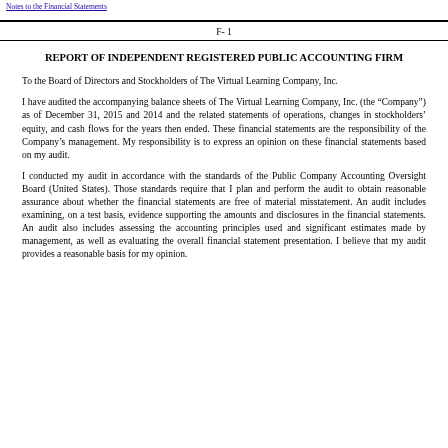Notes to the Financial Statements
F- 1
REPORT OF INDEPENDENT REGISTERED PUBLIC ACCOUNTING FIRM
To the Board of Directors and Stockholders of The Virtual Learning Company, Inc.
I have audited the accompanying balance sheets of The Virtual Learning Company, Inc. (the "Company") as of December 31, 2015 and 2014 and the related statements of operations, changes in stockholders' equity, and cash flows for the years then ended. These financial statements are the responsibility of the Company's management. My responsibility is to express an opinion on these financial statements based on my audit.
I conducted my audit in accordance with the standards of the Public Company Accounting Oversight Board (United States). Those standards require that I plan and perform the audit to obtain reasonable assurance about whether the financial statements are free of material misstatement. An audit includes examining, on a test basis, evidence supporting the amounts and disclosures in the financial statements. An audit also includes assessing the accounting principles used and significant estimates made by management, as well as evaluating the overall financial statement presentation. I believe that my audit provides a reasonable basis for my opinion.